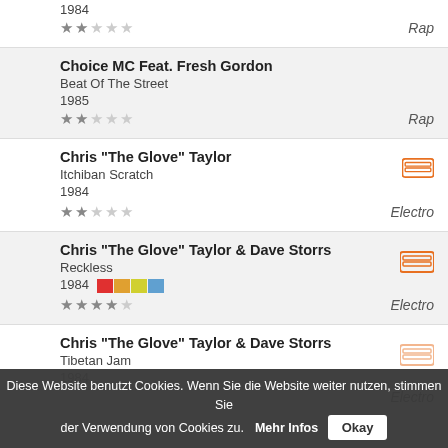1984 | ★★☆☆☆ | Rap
Choice MC Feat. Fresh Gordon | Beat Of The Street | 1985 | ★★☆☆☆ | Rap
Chris "The Glove" Taylor | Itchiban Scratch | 1984 | ★★☆☆☆ | Electro
Chris "The Glove" Taylor & Dave Storrs | Reckless | 1984 | ★★★★☆ | Electro
Chris "The Glove" Taylor & Dave Storrs | Tibetan Jam | 1984 | Electro
Diese Website benutzt Cookies. Wenn Sie die Website weiter nutzen, stimmen Sie der Verwendung von Cookies zu. Mehr Infos Okay